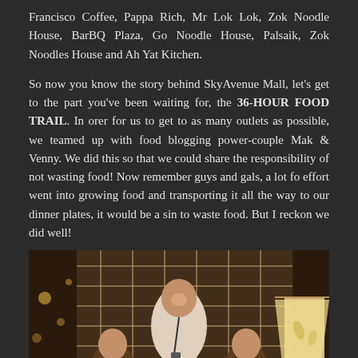Francisco Coffee, Pappa Rich, Mr Lok Lok, Zok Noodle House, BarBQ Plaza, Go Noodle House, Palsaik, Zok Noodles House and Ah Yat Kitchen.
So now you know the story behind SkyAvenue Mall, let's get to the part you've been waiting for, the 36-HOUR FOOD TRAIL. In orer for us to get to as many outlets as possible, we teamed up with food blogging power-couple Mak & Venny. We did this so that we could share the responsibility of not wasting food! Now remember guys and gals, a lot fo effort went into growing food and transporting it all the way to our dinner plates, it would be a sin to waste food. But I reckon we did well!
[Figure (photo): Three people posing in a restaurant interior with decorative lattice wall panels and warm ambient lighting. A man stands in the center behind two women seated at the front. A lamp is visible on the right side.]